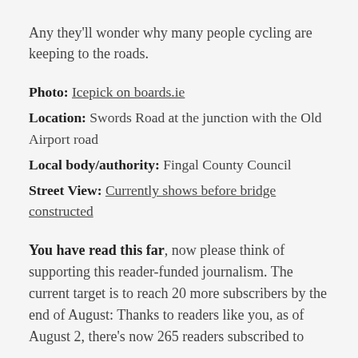Any they'll wonder why many people cycling are keeping to the roads.
Photo: Icepick on boards.ie
Location: Swords Road at the junction with the Old Airport road
Local body/authority: Fingal County Council
Street View: Currently shows before bridge constructed
You have read this far, now please think of supporting this reader-funded journalism. The current target is to reach 20 more subscribers by the end of August: Thanks to readers like you, as of August 2, there's now 265 readers subscribed to